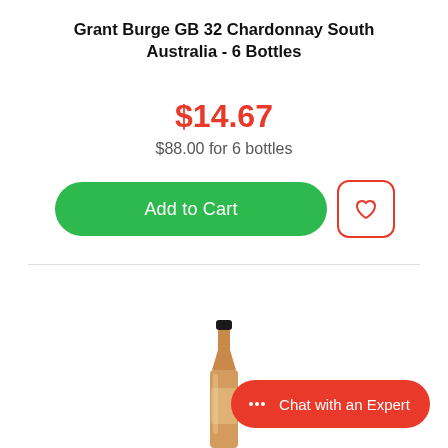Grant Burge GB 32 Chardonnay South Australia - 6 Bottles
$14.67
$88.00 for 6 bottles
[Figure (screenshot): Green Add to Cart button with a red-bordered wishlist heart icon button]
[Figure (photo): Bottom portion of a wine bottle with amber/golden colored wine, black capsule neck]
Chat with an Expert